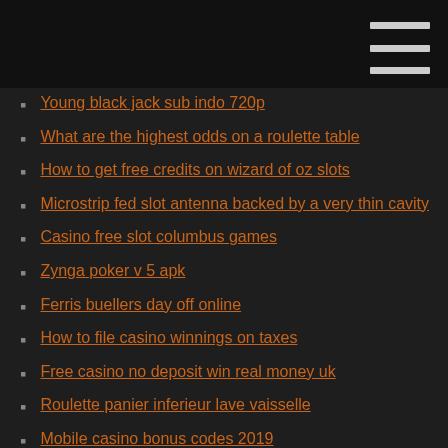Young black jack sub indo 720p
What are the highest odds on a roulette table
How to get free credits on wizard of oz slots
Microstrip fed slot antenna backed by a very thin cavity
Casino free slot columbus games
Zynga poker v 5 apk
Ferris buellers day off online
How to file casino winnings on taxes
Free casino no deposit win real money uk
Roulette panier inferieur lave vaisselle
Mobile casino bonus codes 2019
T slot aluminium extrusion melbourne
Play games now no download